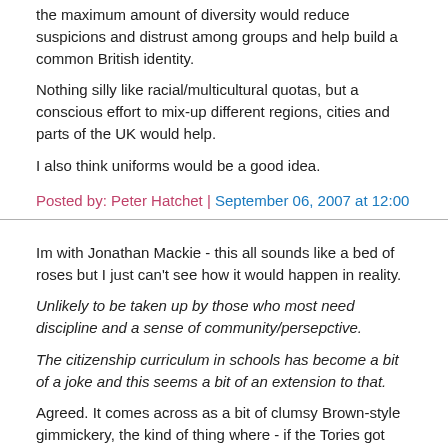the maximum amount of diversity would reduce suspicions and distrust among groups and help build a common British identity.
Nothing silly like racial/multicultural quotas, but a conscious effort to mix-up different regions, cities and parts of the UK would help.
I also think uniforms would be a good idea.
Posted by: Peter Hatchet | September 06, 2007 at 12:00
Im with Jonathan Mackie - this all sounds like a bed of roses but I just can't see how it would happen in reality.
Unlikely to be taken up by those who most need discipline and a sense of community/persepctive.
The citizenship curriculum in schools has become a bit of a joke and this seems a bit of an extension to that.
Agreed. It comes across as a bit of clumsy Brown-style gimmickery, the kind of thing where - if the Tories got into government - would be quietly forgotten.
Posted by: Edison Smith | September 06, 2007 at 12:04
This idea is chilling. It harks back to the days of conscription and the siniste